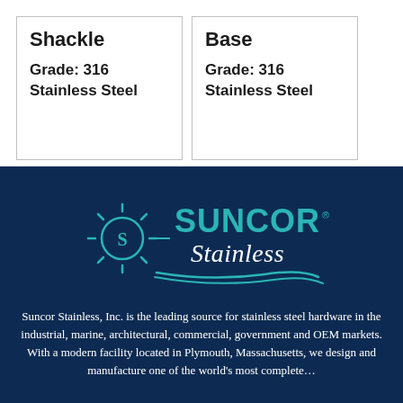| Shackle | Base |
| --- | --- |
| Grade: 316 Stainless Steel | Grade: 316 Stainless Steel |
[Figure (logo): Suncor Stainless company logo — teal sun/compass icon with 'S' in center, bold SUNCOR® wordmark, italic Stainless script below, teal color on dark navy background]
Suncor Stainless, Inc. is the leading source for stainless steel hardware in the industrial, marine, architectural, commercial, government and OEM markets. With a modern facility located in Plymouth, Massachusetts, we design and manufacture one of the world's most complete…